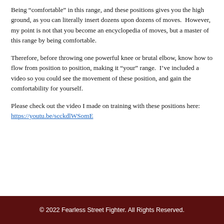Being “comfortable” in this range, and these positions gives you the high ground, as you can literally insert dozens upon dozens of moves.  However, my point is not that you become an encyclopedia of moves, but a master of this range by being comfortable.
Therefore, before throwing one powerful knee or brutal elbow, know how to flow from position to position, making it “your” range.  I’ve included a video so you could see the movement of these position, and gain the comfortability for yourself.
Please check out the video I made on training with these positions here:  https://youtu.be/scckdlWSomE
© 2022 Fearless Street Fighter. All Rights Reserved.